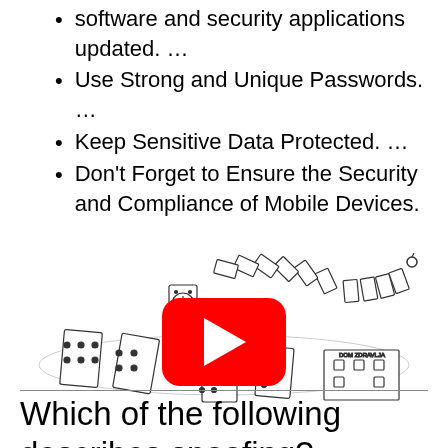software and security applications updated. ...
Use Strong and Unique Passwords. ...
Keep Sensitive Data Protected. ...
Don't Forget to Ensure the Security and Compliance of Mobile Devices.
[Figure (illustration): A domino effect illustration showing dominoes falling in a chain, with various objects among them including a clock and a building labeled 'DOM ZDRAVLJA'. A YouTube play button (red circle with white triangle) is overlaid in the center.]
Which of the following describes spoofing?